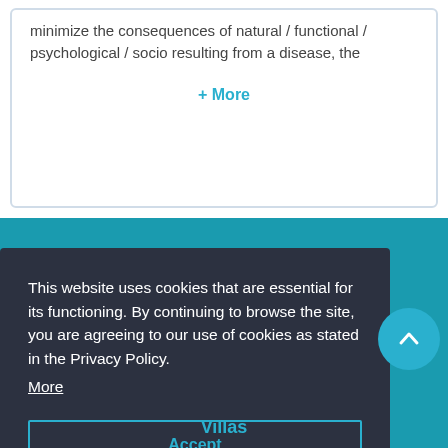minimize the consequences of natural / functional / psychological / socio resulting from a disease, the
+ More
This website uses cookies that are essential for its functioning. By continuing to browse the site, you are agreeing to our use of cookies as stated in the Privacy Policy.
More
Accept
Villas